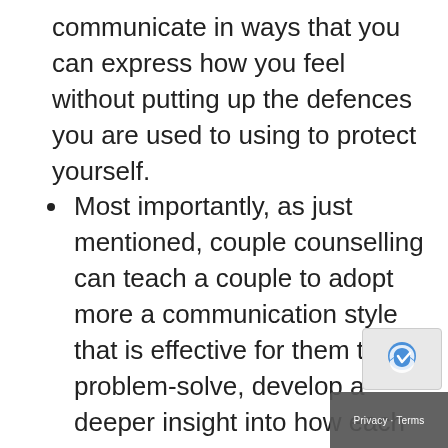communicate in ways that you can express how you feel without putting up the defences you are used to using to protect yourself.
Most importantly, as just mentioned, couple counselling can teach a couple to adopt more a communication style that is effective for them to problem-solve, develop a deeper insight into how each other is functioning so that problem-solving and making decisions together is a process that fosters connections between the two of you rather than destroy them.
Each issue and or conflict are teased so that each person feels like they are on the same page, and how to move